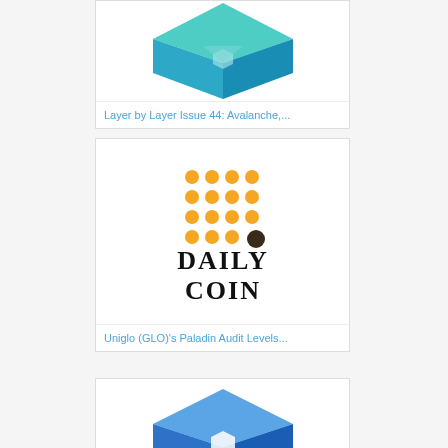[Figure (logo): Avalanche/blockchain cube logo in teal and blue gradient colors, partially visible at top]
Layer by Layer Issue 44: Avalanche,...
[Figure (logo): DailyCoin logo: orange dot grid pattern above bold serif text DAILY COIN]
Uniglo (GLO)'s Paladin Audit Levels...
[Figure (logo): Blue blockchain cube logo, partially visible at bottom]